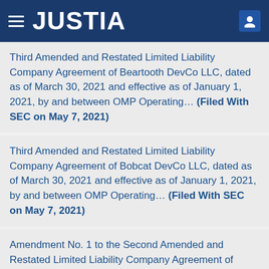JUSTIA
Third Amended and Restated Limited Liability Company Agreement of Beartooth DevCo LLC, dated as of March 30, 2021 and effective as of January 1, 2021, by and between OMP Operating… (Filed With SEC on May 7, 2021)
Third Amended and Restated Limited Liability Company Agreement of Bobcat DevCo LLC, dated as of March 30, 2021 and effective as of January 1, 2021, by and between OMP Operating… (Filed With SEC on May 7, 2021)
Amendment No. 1 to the Second Amended and Restated Limited Liability Company Agreement of Beartooth DevCo LLC, dated as of September 29, 2020, by and between OMP Operating LLC, as… (Filed With SEC on September 30, 2020)